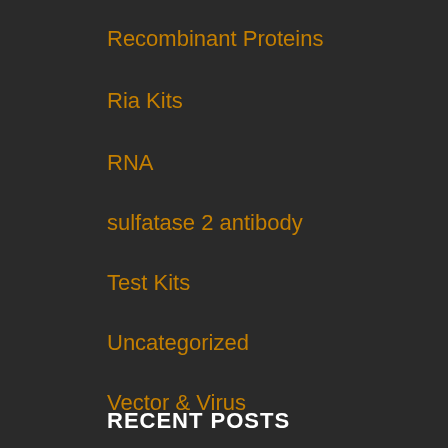Recombinant Proteins
Ria Kits
RNA
sulfatase 2 antibody
Test Kits
Uncategorized
Vector & Virus
Western Blot
RECENT POSTS